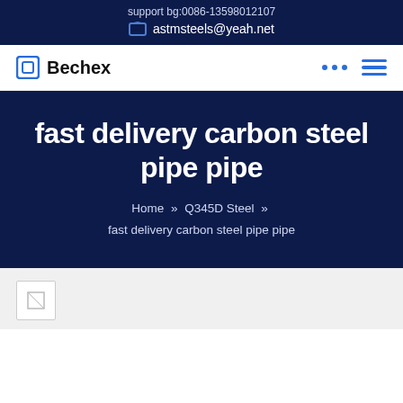support bg:0086-13598012107
astmsteels@yeah.net
[Figure (logo): Bechex logo with square icon]
fast delivery carbon steel pipe pipe
Home » Q345D Steel » fast delivery carbon steel pipe pipe
[Figure (photo): Broken image placeholder]